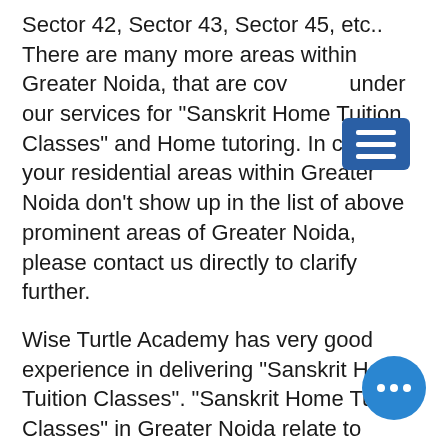Sector 42, Sector 43, Sector 45, etc.. There are many more areas within Greater Noida, that are covered under our services for "Sanskrit Home Tuition Classes" and Home tutoring. In case, if your residential areas within Greater Noida don't show up in the list of above prominent areas of Greater Noida, please contact us directly to clarify further.
Wise Turtle Academy has very good experience in delivering "Sanskrit Home Tuition Classes". "Sanskrit Home Tuition Classes" in Greater Noida relate to English medium CBSE School Board. Additionally, "Sanskrit Home Tuition Classes" in Greater Noida also cover quality oriented, contemporary,